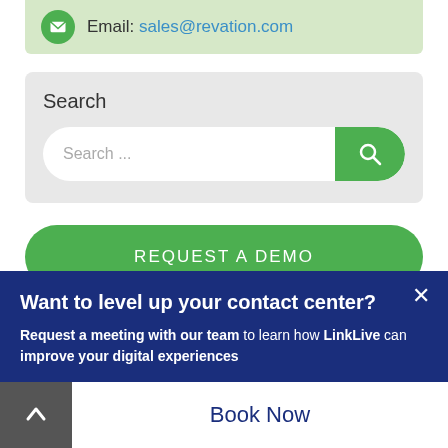Email: sales@revation.com
Search
Search ...
REQUEST A DEMO
Want to level up your contact center?
Request a meeting with our team to learn how LinkLive can improve your digital experiences
Book Now